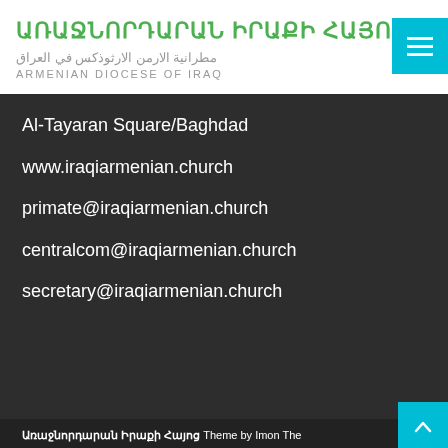ԱՌԱՋՆՈՐԴԱՐԱՆ ԻՐԱՔԻ ՀԱՅՈՑ
مطرانية الارمن الارثوذكس في العراق
ARMENIAN DIOCESE OF IRAQ
Al-Tayaran Square/Baghdad
www.iraqiarmenian.church
primate@iraqiarmenian.church
centralcom@iraqiarmenian.church
secretary@iraqiarmenian.church
Առաջնորդարան Իրաքի Հայոց Theme by Imon The